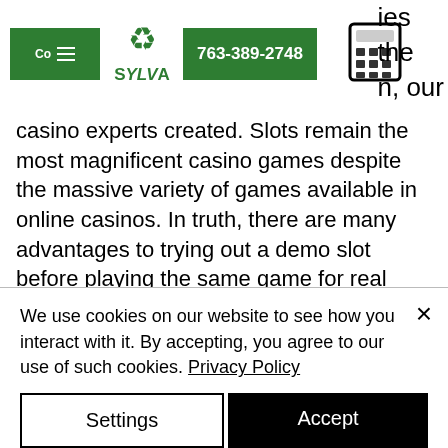Co [menu] SYLVA 763-389-2748 [calculator] ies the n, our
casino experts created. Slots remain the most magnificent casino games despite the massive variety of games available in online casinos. In truth, there are many advantages to trying out a demo slot before playing the same game for real money – below, we present the five best reasons to play demo. Demo slots are essentially free slots, and they enable players to play as much as they want for free. What makes them "demo" is the fact that you can make a. Welcome to
We use cookies on our website to see how you interact with it. By accepting, you agree to our use of such cookies. Privacy Policy
Settings
Accept